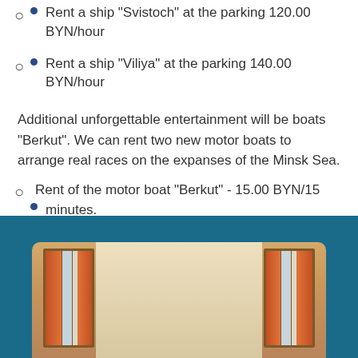Rent a ship "Svistoch" at the parking 120.00 BYN/hour
Rent a ship "Viliya" at the parking 140.00 BYN/hour
Additional unforgettable entertainment will be boats "Berkut". We can rent two new motor boats to arrange real races on the expanses of the Minsk Sea.
Rent of the motor boat "Berkut" - 15.00 BYN/15 minutes.
[Figure (photo): Interior room photo showing windows with orange curtains and light-colored walls, set against a teal/blue background with a chevron pointer above]